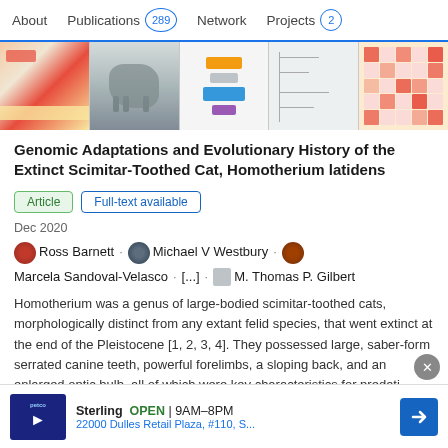About  Publications 289  Network  Projects 2
[Figure (illustration): A horizontal strip of five research paper figures: a diagram with orange and red highlights, an illustration of a large cat (Homotherium), a chart with yellow/blue boxes, a phylogenetic tree diagram, and a heatmap with red dots.]
Genomic Adaptations and Evolutionary History of the Extinct Scimitar-Toothed Cat, Homotherium latidens
Article   Full-text available
Dec 2020
Ross Barnett · Michael V Westbury · Marcela Sandoval-Velasco · [...] · M. Thomas P. Gilbert
Homotherium was a genus of large-bodied scimitar-toothed cats, morphologically distinct from any extant felid species, that went extinct at the end of the Pleistocene [1, 2, 3, 4]. They possessed large, saber-form serrated canine teeth, powerful forelimbs, a sloping back, and an enlarged optic bulb, all of which were key characteristics for predati...
Advertisement
View
Sterling  OPEN | 9AM–8PM  22000 Dulles Retail Plaza, #110, S...